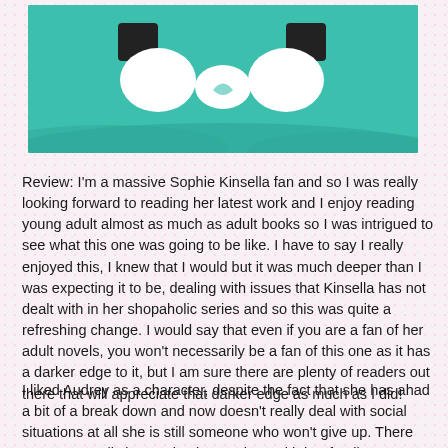[Figure (illustration): Book cover illustration with teal/green background showing white gloved hands held together, with dark sleeve cuffs visible at the top]
Review: I'm a massive Sophie Kinsella fan and so I was really looking forward to reading her latest work and I enjoy reading young adult almost as much as adult books so I was intrigued to see what this one was going to be like. I have to say I really enjoyed this, I knew that I would but it was much deeper than I was expecting it to be, dealing with issues that Kinsella has not dealt with in her shopaholic series and so this was quite a refreshing change. I would say that even if you are a fan of her adult novels, you won't necessarily be a fan of this one as it has a darker edge to it, but I am sure there are plenty of readers out there that will appreciate that darker edge as much as I did!
I liked Audrey as a character, despite the fact that she has ahad a bit of a break down and now doesn't really deal with social situations at all she is still someone who won't give up. There are some really interesting interactions with her family.